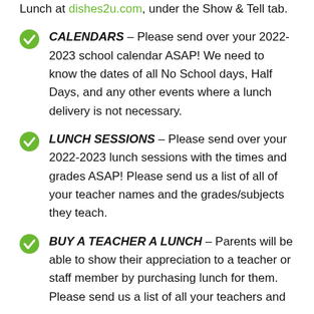Lunch at dishes2u.com, under the Show & Tell tab.
CALENDARS – Please send over your 2022-2023 school calendar ASAP! We need to know the dates of all No School days, Half Days, and any other events where a lunch delivery is not necessary.
LUNCH SESSIONS – Please send over your 2022-2023 lunch sessions with the times and grades ASAP! Please send us a list of all of your teacher names and the grades/subjects they teach.
BUY A TEACHER A LUNCH – Parents will be able to show their appreciation to a teacher or staff member by purchasing lunch for them. Please send us a list of all your teachers and